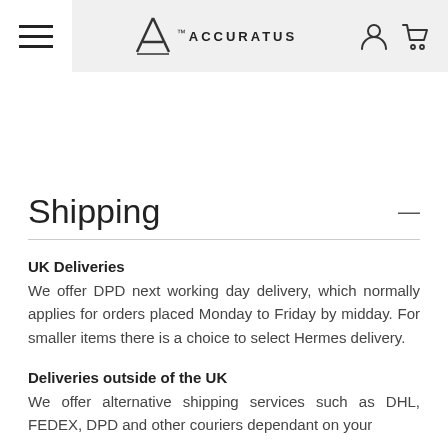Accuratus — navigation header with hamburger menu, logo, user and cart icons
Shipping
UK Deliveries
We offer DPD next working day delivery, which normally applies for orders placed Monday to Friday by midday. For smaller items there is a choice to select Hermes delivery.
Deliveries outside of the UK
We offer alternative shipping services such as DHL, FEDEX, DPD and other couriers dependant on your